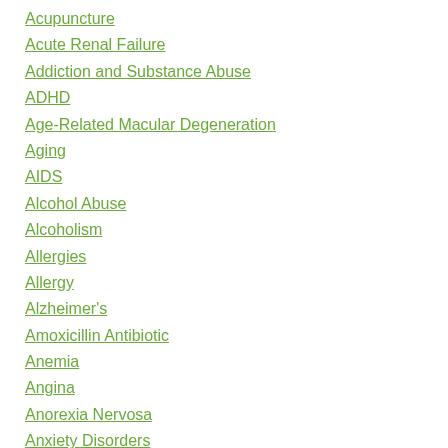Acupuncture
Acute Renal Failure
Addiction and Substance Abuse
ADHD
Age-Related Macular Degeneration
Aging
AIDS
Alcohol Abuse
Alcoholism
Allergies
Allergy
Alzheimer's
Amoxicillin Antibiotic
Anemia
Angina
Anorexia Nervosa
Anxiety Disorders
Appendicitis
Arrhythmia